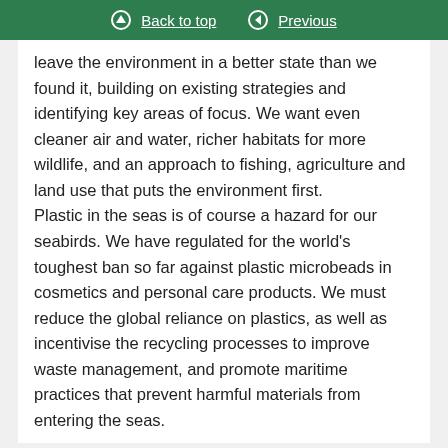Back to top   Previous
leave the environment in a better state than we found it, building on existing strategies and identifying key areas of focus. We want even cleaner air and water, richer habitats for more wildlife, and an approach to fishing, agriculture and land use that puts the environment first.
Plastic in the seas is of course a hazard for our seabirds. We have regulated for the world’s toughest ban so far against plastic microbeads in cosmetics and personal care products. We must reduce the global reliance on plastics, as well as incentivise the recycling processes to improve waste management, and promote maritime practices that prevent harmful materials from entering the seas.